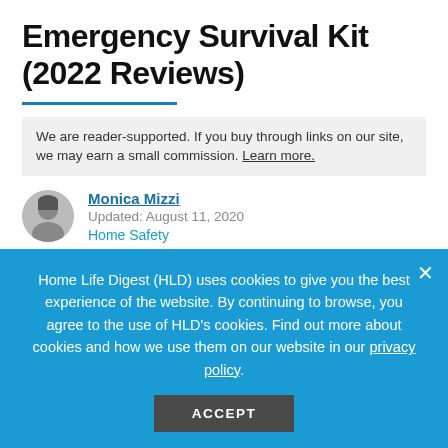Emergency Survival Kit (2022 Reviews)
We are reader-supported. If you buy through links on our site, we may earn a small commission. Learn more.
Monica Mizzi
Updated: August 11, 2020
Home Safety
Putting together a survival kit for your home is a smart move for many reasons. Having a survival kit on hand gives you the peace of mind that you'll be well-prepared should an
Home Life Digest (HLD) uses cookies to give you the best experience of the website. By continuing to browse, you agree to the use of HLD's cookies. Find out more about cookies and how we use them on our website in our privacy policy.